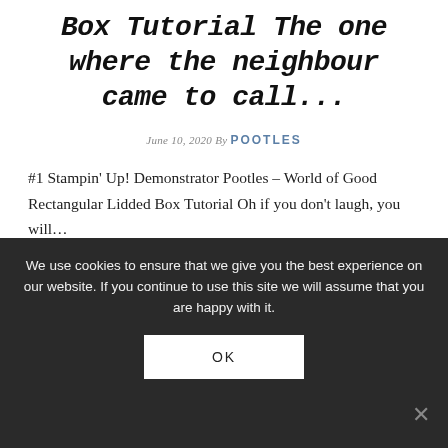Box Tutorial The one where the neighbour came to call...
June 10, 2020 By POOTLES
#1 Stampin' Up! Demonstrator Pootles – World of Good Rectangular Lidded Box Tutorial Oh if you don't laugh, you will...
We use cookies to ensure that we give you the best experience on our website. If you continue to use this site we will assume that you are happy with it.
OK